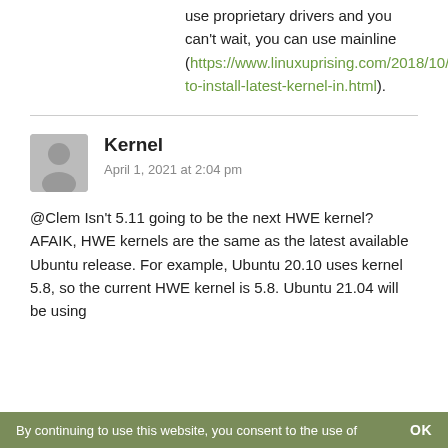use proprietary drivers and you can't wait, you can use mainline (https://www.linuxuprising.com/2018/10/utilities-to-install-latest-kernel-in.html).
[Figure (illustration): Generic user avatar icon (grey silhouette on grey square background)]
Kernel
April 1, 2021 at 2:04 pm
@Clem Isn't 5.11 going to be the next HWE kernel?
AFAIK, HWE kernels are the same as the latest available Ubuntu release. For example, Ubuntu 20.10 uses kernel 5.8, so the current HWE kernel is 5.8. Ubuntu 21.04 will be using
By continuing to use this website, you consent to the use of    OK